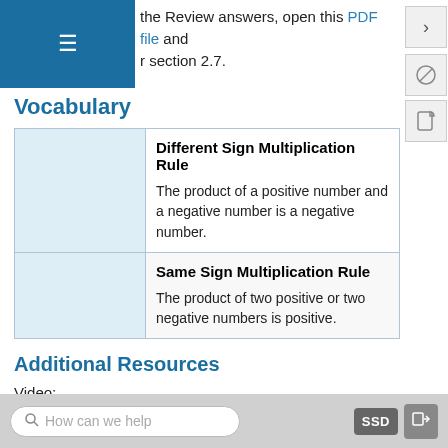the Review answers, open this PDF file and r section 2.7.
Vocabulary
|  | Term / Definition |
| --- | --- |
|  | Different Sign Multiplication Rule

The product of a positive number and a negative number is a negative number. |
|  | Same Sign Multiplication Rule

The product of two positive or two negative numbers is positive. |
Additional Resources
Video: